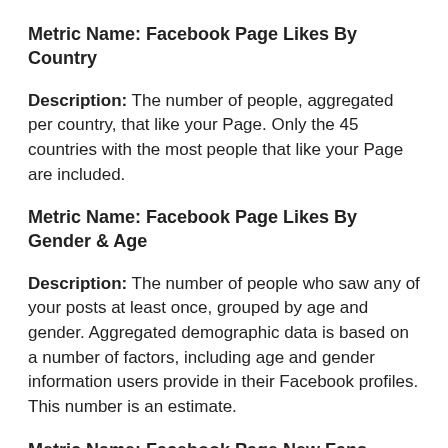Metric Name: Facebook Page Likes By Country
Description: The number of people, aggregated per country, that like your Page. Only the 45 countries with the most people that like your Page are included.
Metric Name: Facebook Page Likes By Gender & Age
Description: The number of people who saw any of your posts at least once, grouped by age and gender. Aggregated demographic data is based on a number of factors, including age and gender information users provide in their Facebook profiles. This number is an estimate.
Metric Name: Facebook Page New Fans
Description: The number of new people who have liked your Page.